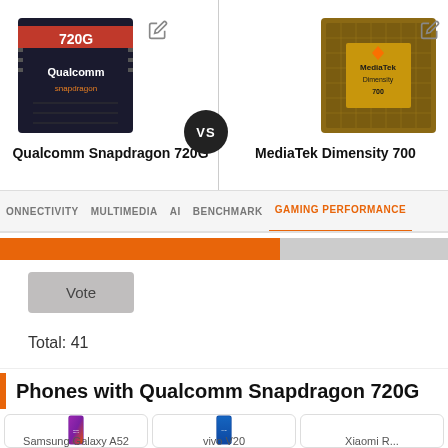[Figure (illustration): Qualcomm Snapdragon 720G chip image (dark background with red Qualcomm logo and 720G text)]
Qualcomm Snapdragon 720G
[Figure (illustration): MediaTek Dimensity 700 chip image (golden/amber colored chip on circuit board)]
MediaTek Dimensity 700
VS
CONNECTIVITY  MULTIMEDIA  AI  BENCHMARK  GAMING PERFORMANCE
[Figure (bar-chart): Horizontal progress/vote bar: orange portion (~65%) on left, gray on right]
Vote
Total: 41
Phones with Qualcomm Snapdragon 720G
[Figure (photo): Samsung Galaxy A52 phone image]
Samsung Galaxy A52
[Figure (photo): vivo V20 phone image]
vivo V20
Xiaomi R...